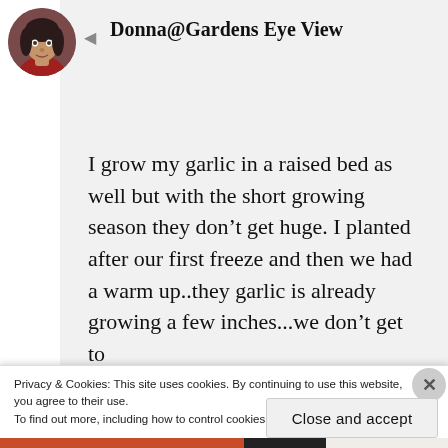[Figure (photo): Circular avatar photo of a woman with dark hair wearing a red jacket, profile picture for Donna@Gardens Eye View]
Donna@Gardens Eye View
I grow my garlic in a raised bed as well but with the short growing season they don’t get huge. I planted after our first freeze and then we had a warm up..they garlic is already growing a few inches...we don’t get to
Privacy & Cookies: This site uses cookies. By continuing to use this website, you agree to their use.
To find out more, including how to control cookies, see here: Cookie Policy
Close and accept